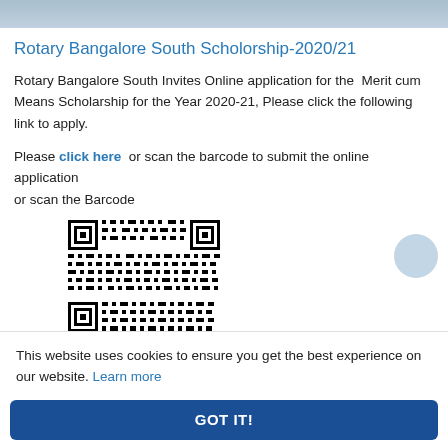[Figure (photo): Partial top image strip showing outdoor scene]
Rotary Bangalore South Scholorship-2020/21
Rotary Bangalore South Invites Online application for the Merit cum Means Scholarship for the Year 2020-21, Please click the following link to apply.
Please click here or scan the barcode to submit the online application or scan the Barcode
[Figure (other): QR code / barcode for online application]
This website uses cookies to ensure you get the best experience on our website. Learn more
GOT IT!